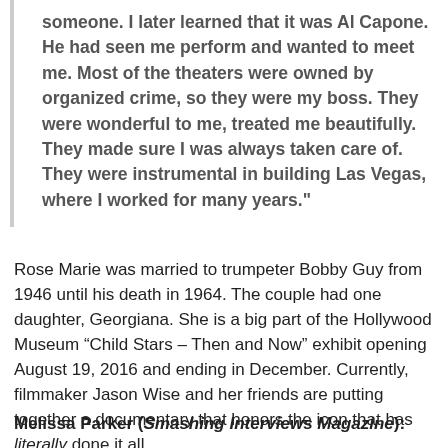someone. I later learned that it was Al Capone. He had seen me perform and wanted to meet me. Most of the theaters were owned by organized crime, so they were my boss. They were wonderful to me, treated me beautifully. They made sure I was always taken care of. They were instrumental in building Las Vegas, where I worked for many years."
Rose Marie was married to trumpeter Bobby Guy from 1946 until his death in 1964. The couple had one daughter, Georgiana. She is a big part of the Hollywood Museum “Child Stars – Then and Now” exhibit opening August 19, 2016 and ending in December. Currently, filmmaker Jason Wise and her friends are putting together a documentary that honors the icon that has literally done it all.
Melissa Parker (Smashing Interviews Magazine):